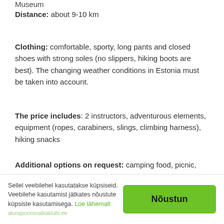Museum
Distance: about 9-10 km
Clothing: comfortable, sporty, long pants and closed shoes with strong soles (no slippers, hiking boots are best). The changing weather conditions in Estonia must be taken into account.
The price includes: 2 instructors, adventurous elements, equipment (ropes, carabiners, slings, climbing harness), hiking snacks
Additional options on request: camping food, picnic, tent sauna.*
Possibility to combine canoe, scooter trip, and SUV safari and order a multi-day trip.*
Sellel veebilehel kasutatakse küpsiseid. Veebilehe kasutamist jätkates nõustute küpsiste kasutamisega. Loe lähemalt
alurajsoomnatkaklubi.ee
Nõustun